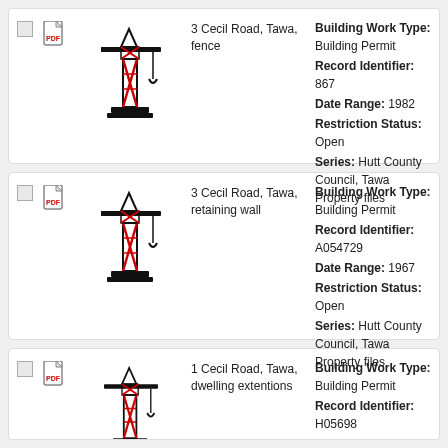3 Cecil Road, Tawa, fence | Building Work Type: Building Permit | Record Identifier: 867 | Date Range: 1982 | Restriction Status: Open | Series: Hutt County Council, Tawa Property files
3 Cecil Road, Tawa, retaining wall | Building Work Type: Building Permit | Record Identifier: A054729 | Date Range: 1967 | Restriction Status: Open | Series: Hutt County Council, Tawa Property files
1 Cecil Road, Tawa, dwelling extentions | Building Work Type: Building Permit | Record Identifier: H05698